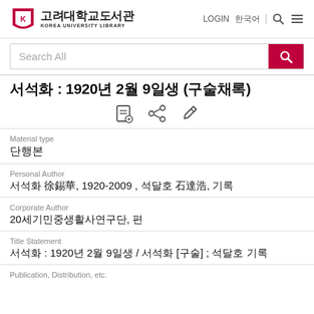고려대학교도서관 KOREA UNIVERSITY LIBRARY LOGIN 한국어
Search All
서석화 : 1920년 2월 9일생 (구술채록)
Material type
단행본
Personal Author
서석화 徐錫華, 1920-2009 , 석달호 石達浩, 기록
Corporate Author
20세기민중생활사연구단, 편
Title Statement
서석화 : 1920년 2월 9일생 / 서석화 [구술] ; 석달호 기록
Publication, Distribution, etc.